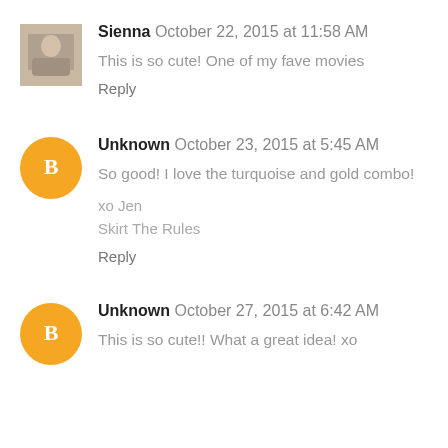Sienna October 22, 2015 at 11:58 AM
This is so cute! One of my fave movies
Reply
Unknown October 23, 2015 at 5:45 AM
So good! I love the turquoise and gold combo!
xo Jen
Skirt The Rules
Reply
Unknown October 27, 2015 at 6:42 AM
This is so cute!! What a great idea! xo